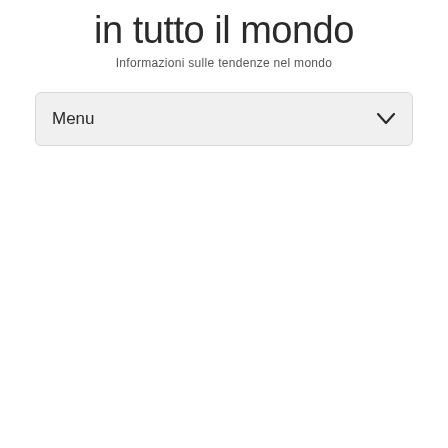in tutto il mondo
Informazioni sulle tendenze nel mondo
Menu